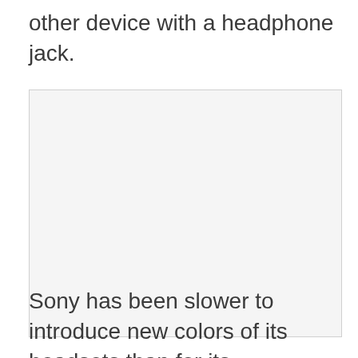other device with a headphone jack.
[Figure (photo): Empty light gray image placeholder with a light border]
Sony has been slower to introduce new colors of its headsets than for its DualSense controller, which got midnight black and crimson options a few